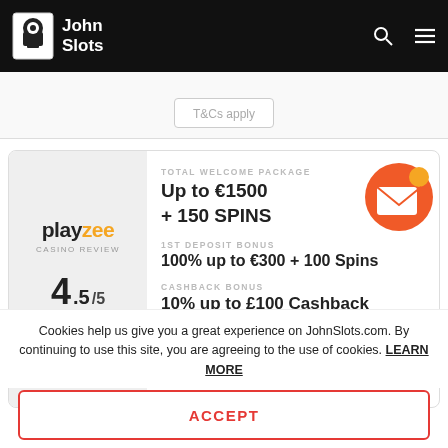John Slots
T&Cs apply
[Figure (logo): PlayZee Casino Review logo with rating 4.5/5 and 4.5 red stars]
TOTAL WELCOME PACKAGE
Up to €1500 + 150 SPINS
1ST DEPOSIT BONUS
100% up to €300 + 100 Spins
CASHBACK BONUS
10% up to £100 Cashback
Cookies help us give you a great experience on JohnSlots.com. By continuing to use this site, you are agreeing to the use of cookies. LEARN MORE
ACCEPT